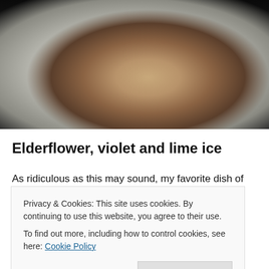[Figure (photo): A plated dish on a white plate showing a browned piece of meat or poultry with green garnishes (chive shoots), on a dark background]
Elderflower, violet and lime ice
As ridiculous as this may sound, my favorite dish of the
Privacy & Cookies: This site uses cookies. By continuing to use this website, you agree to their use.
To find out more, including how to control cookies, see here: Cookie Policy
flavors that my palate was well familiar with but couldn't